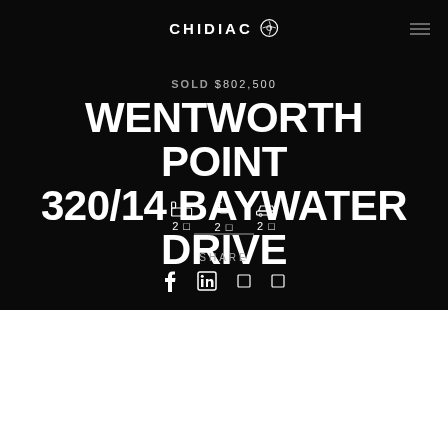CHIDIAC
SOLD $802,500
WENTWORTH POINT 320/14 BAYWATER DRIVE
2 beds 2 baths 2 car
SHARE